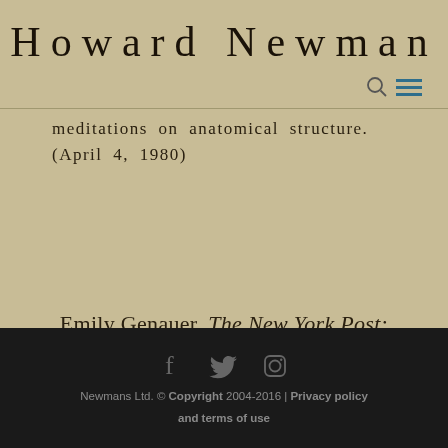Howard Newman
meditations on anatomical structure. (April 4, 1980)
Emily Genauer, The New York Post:
[Figure (photo): Outdoor photo of abstract stone sculpture in front of green grass/plants]
Newmans Ltd. © Copyright 2004-2016 | Privacy policy and terms of use